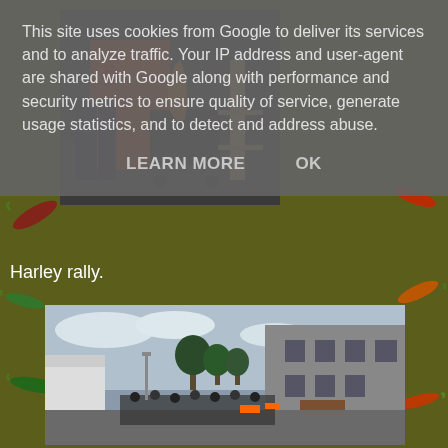This site uses cookies from Google to deliver its services and to analyze traffic. Your IP address and user-agent are shared with Google along with performance and security metrics to ensure quality of service, generate usage statistics, and to detect and address abuse.
LEARN MORE    OK
[Figure (photo): Photo of racing/event equipment including orange containers and black items near wooden shelving]
Harley rally.
[Figure (photo): Photo of a Harley rally with motorcycles and riders gathered near buildings and trees]